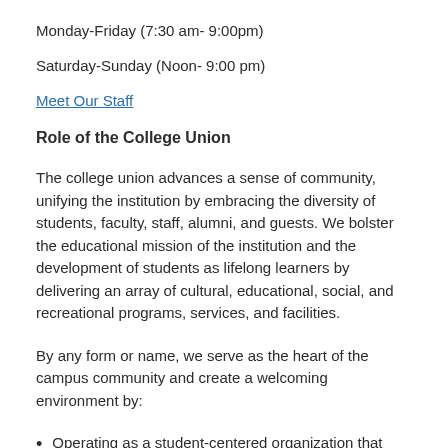Monday-Friday (7:30 am- 9:00pm)
Saturday-Sunday (Noon- 9:00 pm)
Meet Our Staff
Role of the College Union
The college union advances a sense of community, unifying the institution by embracing the diversity of students, faculty, staff, alumni, and guests. We bolster the educational mission of the institution and the development of students as lifelong learners by delivering an array of cultural, educational, social, and recreational programs, services, and facilities.
By any form or name, we serve as the heart of the campus community and create a welcoming environment by:
Operating as a student-centered organization that